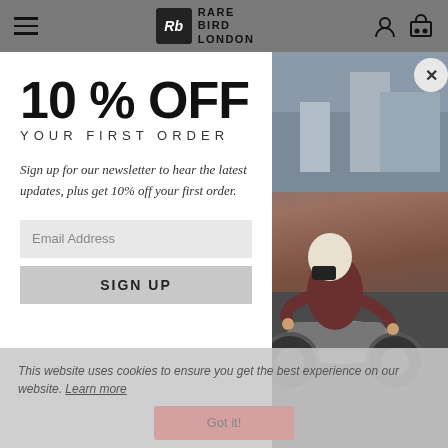Rare Bird London — navigation bar with hamburger menu, logo, account and cart icons
[Figure (photo): Motorcycle rider wearing a white helmet and dark face mask, riding a vintage motorcycle on a London street. Background shows urban buildings. Rider wears a dark burgundy leather jacket.]
10 % OFF YOUR FIRST ORDER
Sign up for our newsletter to hear the latest updates, plus get 10% off your first order.
Email Address
SIGN UP
This website uses cookies to ensure you get the best experience on our website. Learn more
Got it!